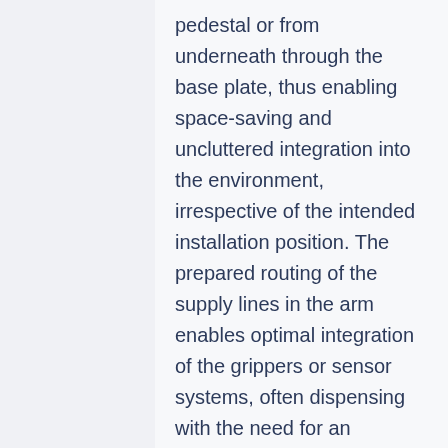pedestal or from underneath through the base plate, thus enabling space-saving and uncluttered integration into the environment, irrespective of the intended installation position. The prepared routing of the supply lines in the arm enables optimal integration of the grippers or sensor systems, often dispensing with the need for an external media package.